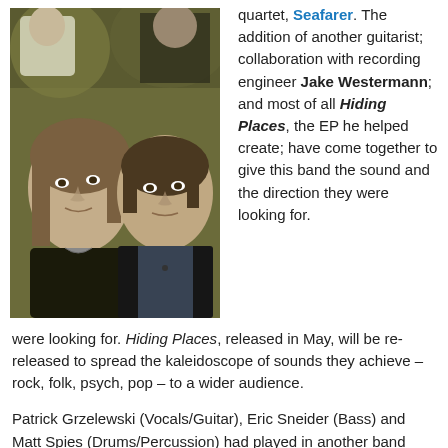[Figure (photo): Black and white/sepia-toned photo of two men in foreground with two other people partially visible behind them, outdoors with foliage background.]
quartet, Seafarer. The addition of another guitarist; collaboration with recording engineer Jake Westermann; and most of all Hiding Places, the EP he helped create; have come together to give this band the sound and the direction they were looking for. Hiding Places, released in May, will be re-released to spread the kaleidoscope of sounds they achieve – rock, folk, psych, pop – to a wider audience.
Patrick Grzelewski (Vocals/Guitar), Eric Sneider (Bass) and Matt Spies (Drums/Percussion) had played in another band together and out of that group they formed Seafarer. Grzelewski says of their three-piece days, "Being faced with the limitations of a three piece dynamic and the opportunity